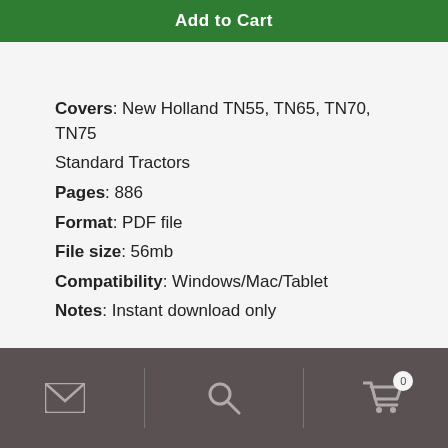[Figure (screenshot): Green 'Add to Cart' button bar at the top of the page]
Covers: New Holland TN55, TN65, TN70, TN75 Standard Tractors
Pages: 886
Format: PDF file
File size: 56mb
Compatibility: Windows/Mac/Tablet
Notes: Instant download only
Latest edition of the New Holland TN55, TN65, TN70 and TN75 service manual. Complete publication with over 800 pages of technical information for mechanics to
Email | Search | Cart (0)